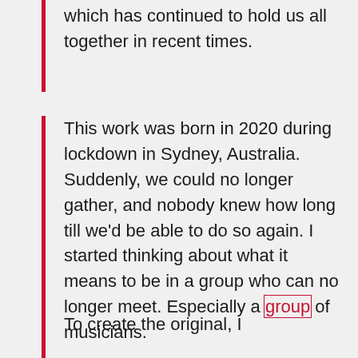which has continued to hold us all together in recent times.
This work was born in 2020 during lockdown in Sydney, Australia. Suddenly, we could no longer gather, and nobody knew how long till we'd be able to do so again. I started thinking about what it means to be in a group who can no longer meet. Especially a group of musicians.
To create the original, I